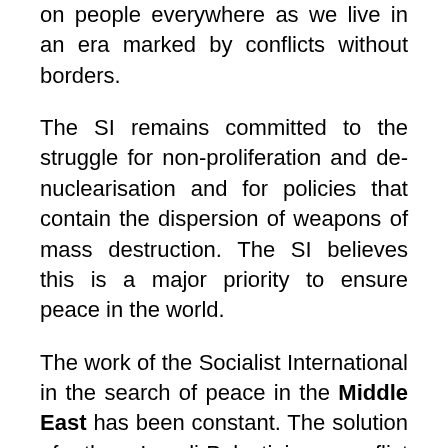on people everywhere as we live in an era marked by conflicts without borders.
The SI remains committed to the struggle for non-proliferation and de-nuclearisation and for policies that contain the dispersion of weapons of mass destruction. The SI believes this is a major priority to ensure peace in the world.
The work of the Socialist International in the search of peace in the Middle East has been constant. The solution of the Israeli-Palestinian conflict remains crucial to secure peace and stability in the whole region and beyond. The negotiations should lead to a lasting peace based on the solution of two States.
The Socialist International welcomes the recently